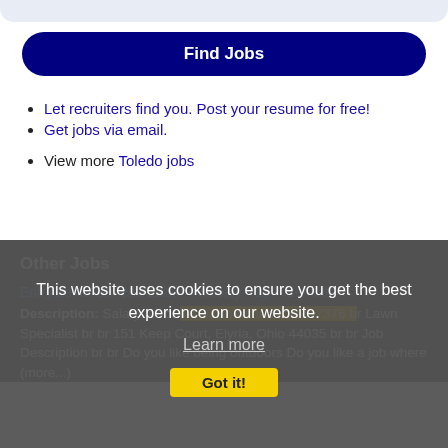[Figure (other): Top rounded gray bar (part of page header/search bar)]
[Figure (other): Dark navy blue Find Jobs button]
Let recruiters find you. Post your resume for free!
Get jobs via email.
View more Toledo jobs
Other Jobs
This website uses cookies to ensure you get the best experience on our website.
Learn more
Got it!
Entry Level General Labor - Weekly Pay + Benefits
Description: Salary: br br 19.00 an hour br br R17376 br Lawn Specialist br br 151 Keep Court, Elyria, Ohio 44035 br br Job Description br br Do you like being outdoors Do you like a job where (more...)